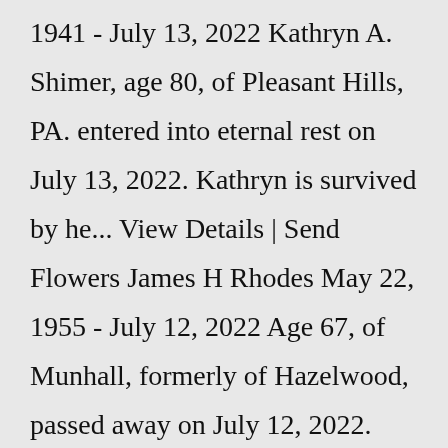1941 - July 13, 2022 Kathryn A. Shimer, age 80, of Pleasant Hills, PA. entered into eternal rest on July 13, 2022. Kathryn is survived by he... View Details | Send Flowers James H Rhodes May 22, 1955 - July 12, 2022 Age 67, of Munhall, formerly of Hazelwood, passed away on July 12, 2022. Beloved husband of 44 1/2 years of Audrey Rhode...Eternal Hills Funeral Home and Cremation 3594 Stone Mountain Highway Snellville, GA NEDRA CARDER